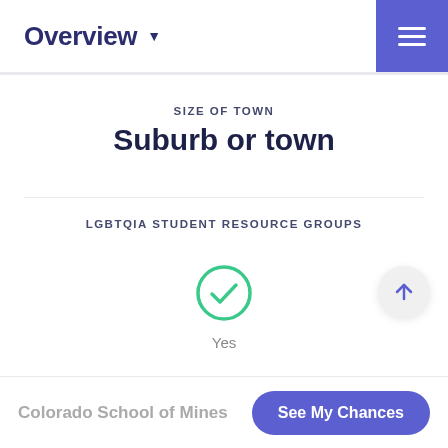Overview
SIZE OF TOWN
Suburb or town
LGBTQIA STUDENT RESOURCE GROUPS
[Figure (other): Green circle checkmark icon indicating Yes]
Yes
ON CAMPUS WOMEN'S CENTER
Colorado School of Mines  See My Chances